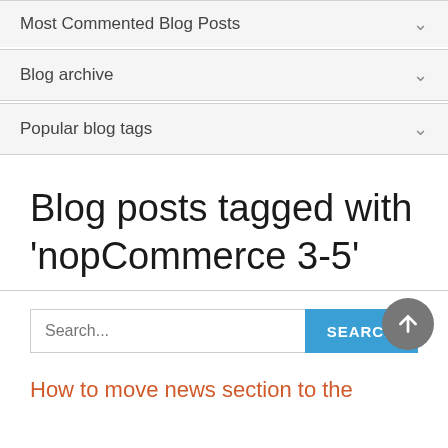Most Commented Blog Posts
Blog archive
Popular blog tags
Blog posts tagged with 'nopCommerce 3-5'
Search...
How to move news section to the